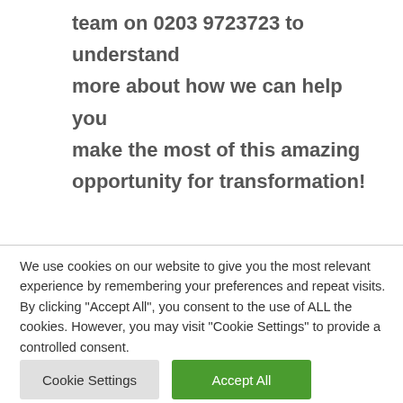team on 0203 9723723 to understand more about how we can help you make the most of this amazing opportunity for transformation!
We use cookies on our website to give you the most relevant experience by remembering your preferences and repeat visits. By clicking “Accept All”, you consent to the use of ALL the cookies. However, you may visit “Cookie Settings” to provide a controlled consent.